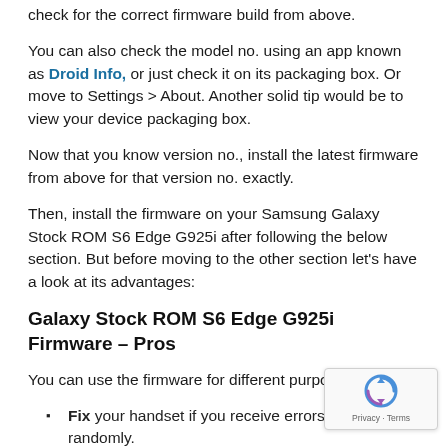check for the correct firmware build from above.
You can also check the model no. using an app known as Droid Info, or just check it on its packaging box. Or move to Settings > About. Another solid tip would be to view your device packaging box.
Now that you know version no., install the latest firmware from above for that version no. exactly.
Then, install the firmware on your Samsung Galaxy Stock ROM S6 Edge G925i after following the below section. But before moving to the other section let's have a look at its advantages:
Galaxy Stock ROM S6 Edge G925i Firmware – Pros
You can use the firmware for different purposes like:
Fix your handset if you receive errors and res randomly.